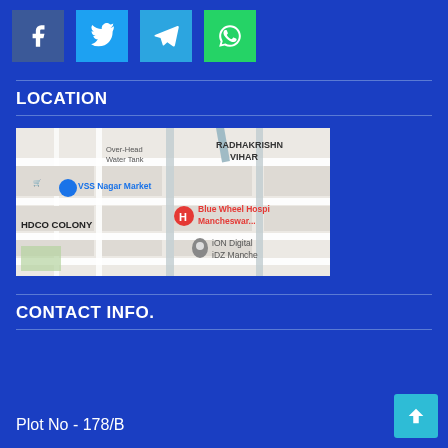[Figure (other): Social media share buttons: Facebook (dark blue), Twitter (light blue), Telegram (blue), WhatsApp (green)]
LOCATION
[Figure (map): Google Map screenshot showing VSS Nagar Market, RADHAKRISHN VIHAR, HDCO COLONY, Blue Wheel Hospital Mancheswar..., iON Digital iDZ Manche, Over-Head Water Tank]
CONTACT INFO.
Plot No - 178/B